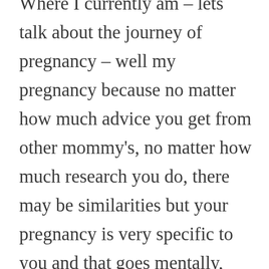Where I currently am – lets talk about the journey of pregnancy – well my pregnancy because no matter how much advice you get from other mommy's, no matter how much research you do, there may be similarities but your pregnancy is very specific to you and that goes mentally, emotionally, physically and spiritually. So I found out I was